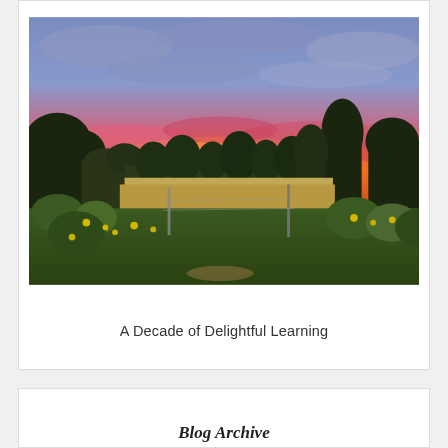[Figure (photo): Sunset landscape photograph showing a field with wildflowers and fence posts in the foreground, a tree line silhouetted against a vivid pink and orange sunset sky with blue-grey clouds above]
A Decade of Delightful Learning
Blog Archive